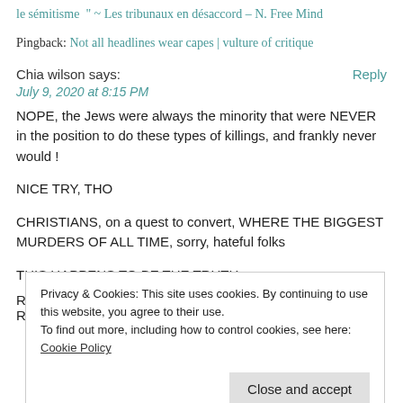le sémitisme " ~ Les tribunaux en désaccord – N. Free Mind
Pingback: Not all headlines wear capes | vulture of critique
Chia wilson says:
July 9, 2020 at 8:15 PM
NOPE, the Jews were always the minority that were NEVER in the position to do these types of killings, and frankly never would !
NICE TRY, THO
CHRISTIANS, on a quest to convert, WHERE THE BIGGEST MURDERS OF ALL TIME, sorry, hateful folks
THIS HAPPENS TO BE THE TRUTH
Privacy & Cookies: This site uses cookies. By continuing to use this website, you agree to their use. To find out more, including how to control cookies, see here: Cookie Policy
Close and accept